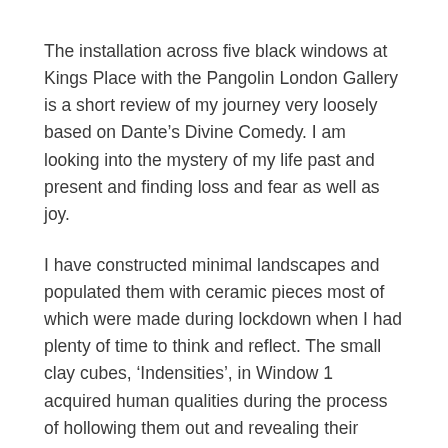The installation across five black windows at Kings Place with the Pangolin London Gallery is a short review of my journey very loosely based on Dante's Divine Comedy. I am looking into the mystery of my life past and present and finding loss and fear as well as joy.
I have constructed minimal landscapes and populated them with ceramic pieces most of which were made during lockdown when I had plenty of time to think and reflect. The small clay cubes, ‘Indensities’, in Window 1 acquired human qualities during the process of hollowing them out and revealing their innards. As soon as I grouped them together in little huddles they started to relate to each other. They are very tactile little pieces and when they are not on display I carry some around with me in my pockets.